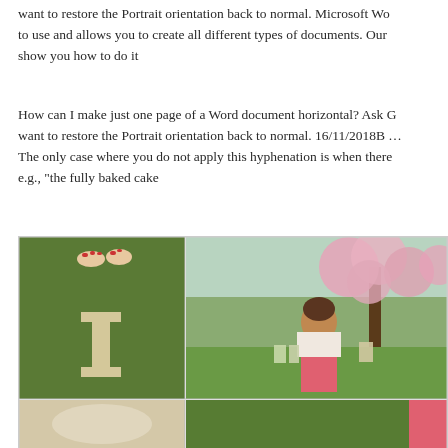want to restore the Portrait orientation back to normal. Microsoft Wo to use and allows you to create all different types of documents. Our show you how to do it
How can I make just one page of a Word document horizontal? Ask want to restore the Portrait orientation back to normal. 16/11/2018B The only case where you do not apply this hyphenation is when there e.g., "the fully baked cake
[Figure (photo): Collage of photos: top-left shows bare feet on grass with a wooden letter I, top-right shows a woman smiling in front of a flowering cherry blossom tree holding decorative letters spelling LOVE, bottom row shows two additional partial photos.]